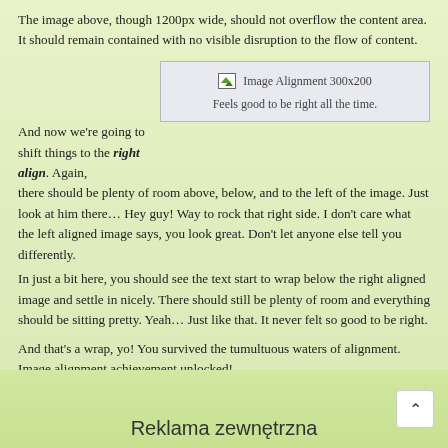The image above, though 1200px wide, should not overflow the content area. It should remain contained with no visible disruption to the flow of content.
And now we're going to shift things to the right align. Again, there should be plenty of room above, below, and to the left of the image. Just look at him there… Hey guy! Way to rock that right side. I don't care what the left aligned image says, you look great. Don't let anyone else tell you differently.
[Figure (screenshot): Image placeholder labeled 'Image Alignment 300x200' with caption 'Feels good to be right all the time.' floated to the right]
In just a bit here, you should see the text start to wrap below the right aligned image and settle in nicely. There should still be plenty of room and everything should be sitting pretty. Yeah… Just like that. It never felt so good to be right.
And that's a wrap, yo! You survived the tumultuous waters of alignment. Image alignment achievement unlocked!
Posted in Markup, Responsive | Tagged alignment, captions, content, css, export, image, markup
Reklama zewnętrzna